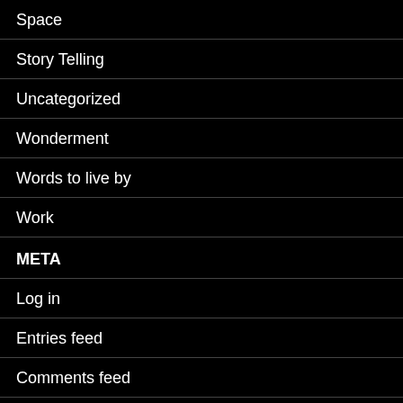Space
Story Telling
Uncategorized
Wonderment
Words to live by
Work
META
Log in
Entries feed
Comments feed
WordPress.org